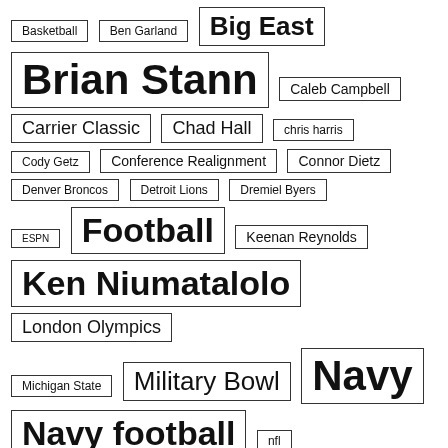[Figure (infographic): Tag cloud showing various sports and military-related topics with varying font sizes indicating frequency/importance. Tags include: Basketball, Ben Garland, Big East, Brian Stann, Caleb Campbell, Carrier Classic, Chad Hall, chris harris, Cody Getz, Conference Realignment, Connor Dietz, Denver Broncos, Detroit Lions, Dremiel Byers, ESPN, Football, Keenan Reynolds, Ken Niumatalolo, London Olympics, Michigan State, Military Bowl, Navy, Navy football, nfl, Notre Dame, Olympics, Philadelphia Eagles, picture-a-day countdown]